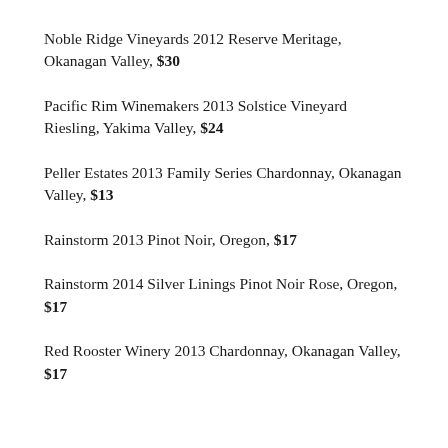Noble Ridge Vineyards 2012 Reserve Meritage, Okanagan Valley, $30
Pacific Rim Winemakers 2013 Solstice Vineyard Riesling, Yakima Valley, $24
Peller Estates 2013 Family Series Chardonnay, Okanagan Valley, $13
Rainstorm 2013 Pinot Noir, Oregon, $17
Rainstorm 2014 Silver Linings Pinot Noir Rose, Oregon, $17
Red Rooster Winery 2013 Chardonnay, Okanagan Valley, $17